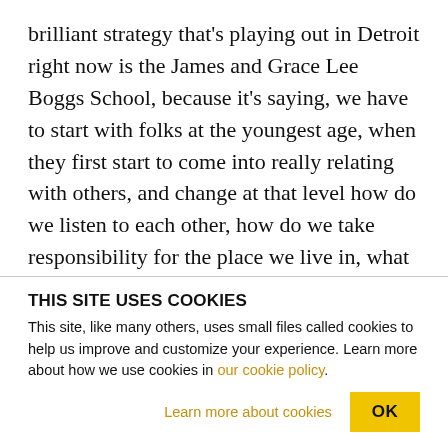brilliant strategy that's playing out in Detroit right now is the James and Grace Lee Boggs School, because it's saying, we have to start with folks at the youngest age, when they first start to come into really relating with others, and change at that level how do we listen to each other, how do we take responsibility for the place we live in, what is the food and water situation in the place that we live in, how do we cultivate and care for and keep that clean and safe and available to all the people here. So those strategies come out of this post-apocalyptic
THIS SITE USES COOKIES
This site, like many others, uses small files called cookies to help us improve and customize your experience. Learn more about how we use cookies in our cookie policy.
Learn more about cookies
OK